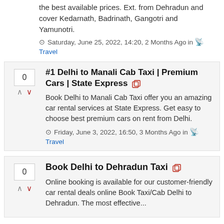the best available prices. Ext. from Dehradun and cover Kedarnath, Badrinath, Gangotri and Yamunotri.
Saturday, June 25, 2022, 14:20, 2 Months Ago in Travel
#1 Delhi to Manali Cab Taxi | Premium Cars | State Express
Book Delhi to Manali Cab Taxi offer you an amazing car rental services at State Express. Get easy to choose best premium cars on rent from Delhi.
Friday, June 3, 2022, 16:50, 3 Months Ago in Travel
Book Delhi to Dehradun Taxi
Online booking is available for our customer-friendly car rental deals online Book Taxi/Cab Delhi to Dehradun. The most effective...